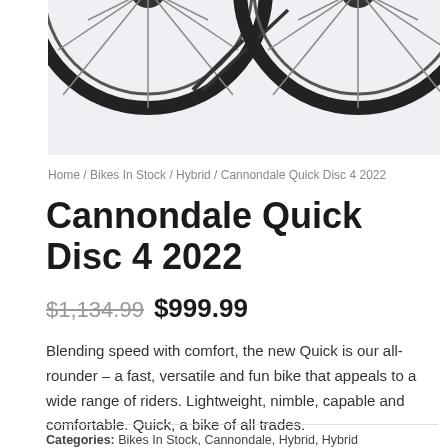[Figure (photo): Partial product photo of a Cannondale Quick Disc 4 2022 bicycle showing two wheels with black tires and spokes against a light grey background]
Home / Bikes In Stock / Hybrid / Cannondale Quick Disc 4 2022
Cannondale Quick Disc 4 2022
$1,134.99 $999.99
Blending speed with comfort, the new Quick is our all-rounder – a fast, versatile and fun bike that appeals to a wide range of riders. Lightweight, nimble, capable and comfortable. Quick, a bike of all trades.
Categories: Bikes In Stock, Cannondale, Hybrid, Hybrid